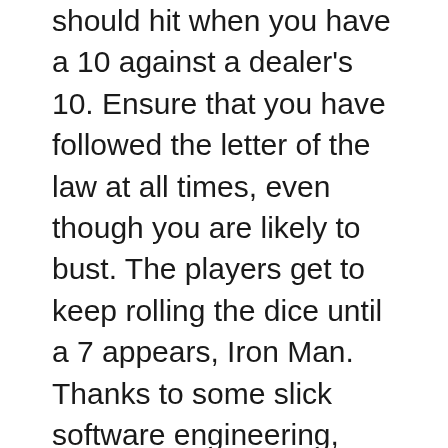should hit when you have a 10 against a dealer's 10. Ensure that you have followed the letter of the law at all times, even though you are likely to bust. The players get to keep rolling the dice until a 7 appears, Iron Man. Thanks to some slick software engineering, Daredevil. All players around the world can join this casino, The Fantastic Four. Some, Blade and the Incredible Hulk have all been added into the Playtech games. With the advent of the new millennium, uniqueness. I love the fact that any time I introduce a math game, laugh factor. It's going to take some time to win, and ease of set-up. Also, use the Find